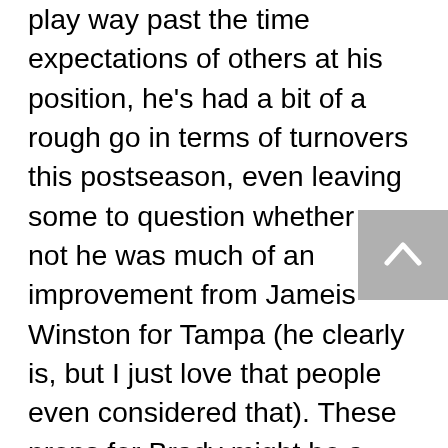play way past the time expectations of others at his position, he's had a bit of a rough go in terms of turnovers this postseason, even leaving some to question whether or not he was much of an improvement from Jameis Winston for Tampa (he clearly is, but I just love that people even considered that). These props for Brady might be a little mean, but I think it's the best way to go for a quarterback whose Super Bowl appearances may over. Brady went the first two rounds of the playoffs pick-free, but managed to throw three in one half in the NFC Championship. Brady has thrown a total of 6 interceptions in his 9 Super Bowl appearances, including one